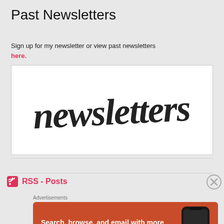Past Newsletters
Sign up for my newsletter or view past newsletters here.
[Figure (illustration): Handwritten script text reading 'newsletters' in dark charcoal brush lettering on white background]
RSS - Posts
Advertisements
[Figure (screenshot): DuckDuckGo advertisement on orange background. Text: 'Search, browse, and email with more privacy. All in One Free App'. Shows DuckDuckGo logo and phone mockup.]